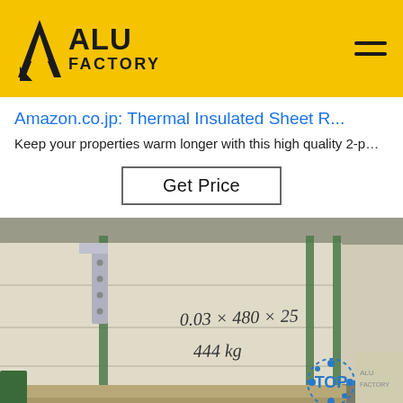ALU FACTORY
Amazon.co.jp: Thermal Insulated Sheet R...
Keep your properties warm longer with this high quality 2-p…
Get Price
[Figure (photo): Wooden shipping crate with green metal straps and metal corner brackets. The crate is labeled in handwritten text: 0.03 x 480 x 25 and 444 kg. A 'TOP' watermark badge appears in the bottom right corner.]